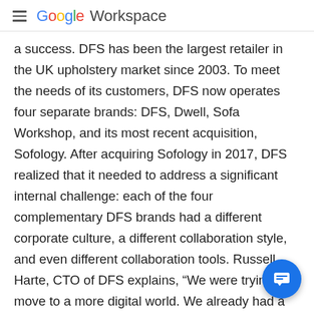Google Workspace
a success. DFS has been the largest retailer in the UK upholstery market since 2003. To meet the needs of its customers, DFS now operates four separate brands: DFS, Dwell, Sofa Workshop, and its most recent acquisition, Sofology. After acquiring Sofology in 2017, DFS realized that it needed to address a significant internal challenge: each of the four complementary DFS brands had a different corporate culture, a different collaboration style, and even different collaboration tools. Russell Harte, CTO of DFS explains, “We were trying to move to a more digital world. We already had a reasonably sized online